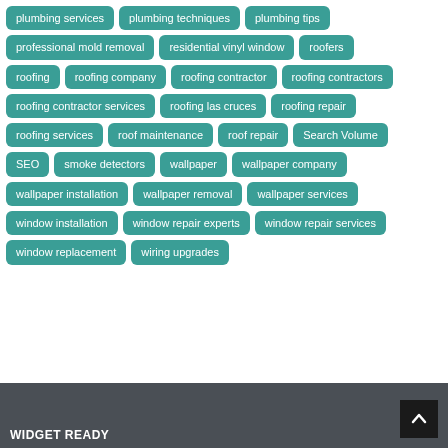plumbing services
plumbing techniques
plumbing tips
professional mold removal
residential vinyl window
roofers
roofing
roofing company
roofing contractor
roofing contractors
roofing contractor services
roofing las cruces
roofing repair
roofing services
roof maintenance
roof repair
Search Volume
SEO
smoke detectors
wallpaper
wallpaper company
wallpaper installation
wallpaper removal
wallpaper services
window installation
window repair experts
window repair services
window replacement
wiring upgrades
WIDGET READY